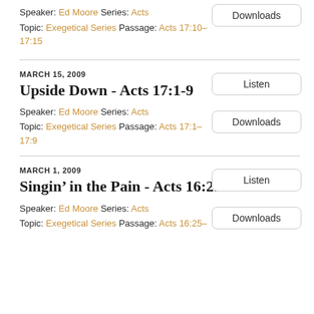Speaker: Ed Moore Series: Acts Topic: Exegetical Series Passage: Acts 17:10–17:15
Downloads
MARCH 15, 2009
Upside Down - Acts 17:1-9
Speaker: Ed Moore Series: Acts Topic: Exegetical Series Passage: Acts 17:1–17:9
Listen
Downloads
MARCH 1, 2009
Singin’ in the Pain - Acts 16:25
Speaker: Ed Moore Series: Acts Topic: Exegetical Series Passage: Acts 16:25–
Listen
Downloads